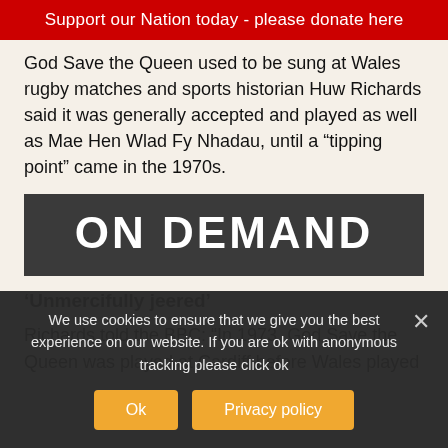Support our Nation today - please donate here
God Save the Queen used to be sung at Wales rugby matches and sports historian Huw Richards said it was generally accepted and played as well as Mae Hen Wlad Fy Nhadau, until a “tipping point” came in the 1970s.
[Figure (other): ON DEMAND dark banner with white bold text]
‘Unmercifully jeered’
Richards told the BBC: “In 1973, God Save the Queen was played at Cardiff before Wales played
We use cookies to ensure that we give you the best experience on our website. If you are ok with anonymous tracking please click ok